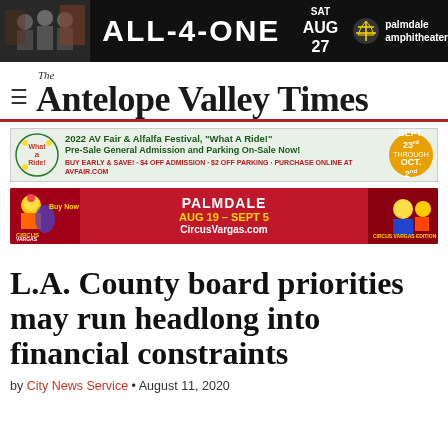[Figure (illustration): Banner advertisement for ALL-4-ONE concert at Palmdale Amphitheater, SAT AUG 27, with photo of performers on dark background]
[Figure (logo): The Antelope Valley Times newspaper masthead logo with hamburger menu icon]
[Figure (illustration): 2022 AV Fair & Alfalfa Festival advertisement, What A Ride!, Pre-Sale General Admission and Parking On-Sale Now!, SEPT. 23rd through OCT. 2nd]
[Figure (illustration): Circus Vargas advertisement, PALMDALE AUG 19 - SEPT 5, CircusVargas.com]
L.A. County board priorities may run headlong into financial constraints
by City News Service • August 11, 2020